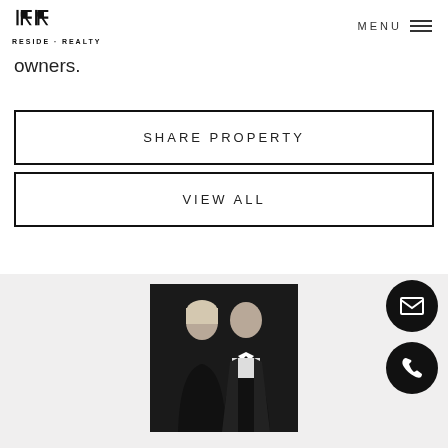RESIDE·REALTY MENU
owners.
SHARE PROPERTY
VIEW ALL
[Figure (photo): Professional photo of a man and woman dressed in formal black attire against a dark background, smiling at the camera.]
[Figure (infographic): Email icon - white envelope on black circular background]
[Figure (infographic): Phone icon - white phone on black circular background]